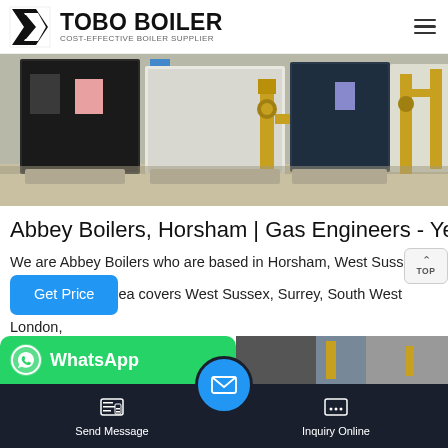TOBO BOILER - COST-EFFECTIVE BOILER SUPPLIER
[Figure (photo): Industrial boilers lined up in a factory/warehouse setting, showing large dark-colored boiler units with yellow/orange pipes and fittings]
Abbey Boilers, Horsham | Gas Engineers - Yell
We are Abbey Boilers who are based in Horsham, West Sussex. Our area covers West Sussex, Surrey, South West London, Brighton and Hove. We are a heating engineer company specialising in domestic boiler servicing, repair and ...
[Figure (screenshot): WhatsApp green button strip and partial industrial image at bottom, with bottom navigation bar showing Send Message and Inquiry Online buttons]